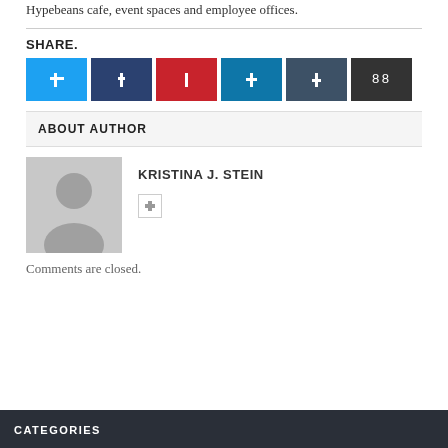Hypebeans cafe, event spaces and employee offices.
SHARE.
[Figure (other): Row of six social share buttons: Twitter (light blue), Facebook (dark blue), Pinterest (red), LinkedIn (medium blue), Tumblr (dark slate), and a share counter showing 88 (dark)]
ABOUT AUTHOR
[Figure (photo): Default avatar silhouette of a person on gray background]
KRISTINA J. STEIN
Comments are closed.
CATEGORIES